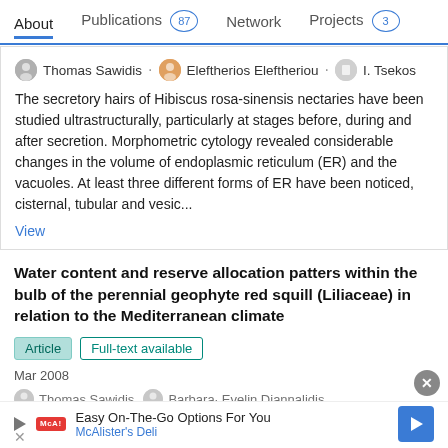About  Publications 87  Network  Projects 3
Thomas Sawidis · Eleftherios Eleftheriou · I. Tsekos
The secretory hairs of Hibiscus rosa-sinensis nectaries have been studied ultrastructurally, particularly at stages before, during and after secretion. Morphometric cytology revealed considerable changes in the volume of endoplasmic reticulum (ER) and the vacuoles. At least three different forms of ER have been noticed, cisternal, tubular and vesic...
View
Water content and reserve allocation patters within the bulb of the perennial geophyte red squill (Liliaceae) in relation to the Mediterranean climate
Article  Full-text available
Mar 2008
Thomas Sawidis · Barbara Evelin Diannalidis
Advertisement Easy On-The-Go Options For You McAlister's Deli